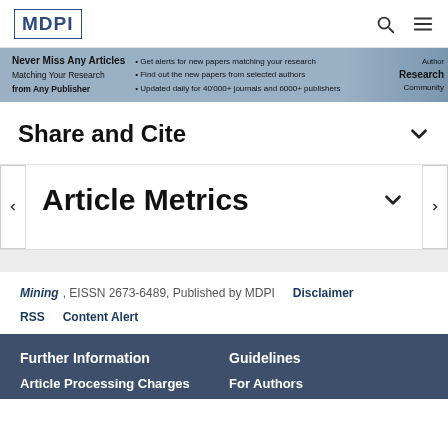MDPI
[Figure (screenshot): MDPI promotional banner: Never Miss Any Articles Matching Your Research from Any Publisher. Get alerts for new papers matching your research. Find out the new papers from selected authors. Updated daily for 40'000+ journals and 6000+ publishers.]
Share and Cite
Article Metrics
Mining, EISSN 2673-6489, Published by MDPI    Disclaimer
RSS    Content Alert
Further Information
Guidelines
Article Processing Charges
For Authors